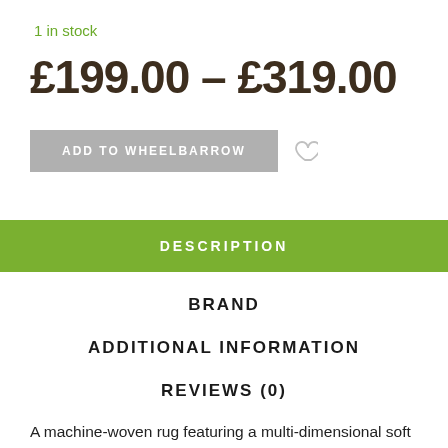1 in stock
£199.00 – £319.00
ADD TO WHEELBARROW
DESCRIPTION
BRAND
ADDITIONAL INFORMATION
REVIEWS (0)
A machine-woven rug featuring a multi-dimensional soft acrylic pile.